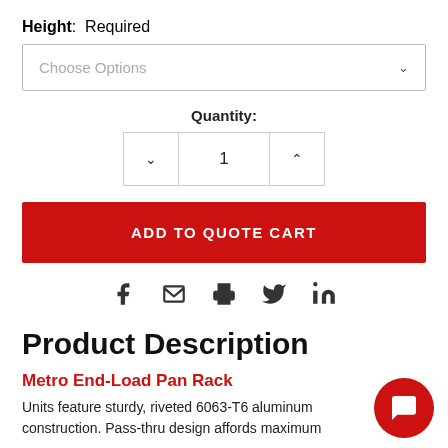Height: Required
Choose Options
Quantity:
1
ADD TO QUOTE CART
[Figure (infographic): Social sharing icons: Facebook, Email, Print, Twitter, LinkedIn]
Product Description
Metro End-Load Pan Rack
Units feature sturdy, riveted 6063-T6 aluminum construction. Pass-thru design affords maximum